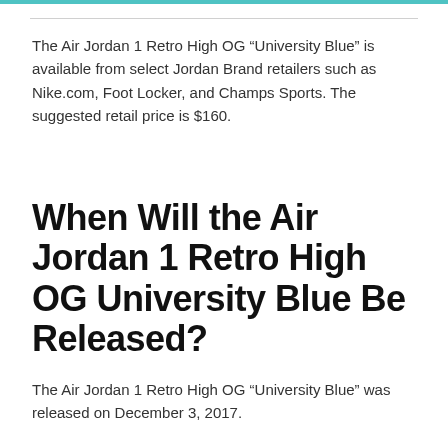The Air Jordan 1 Retro High OG “University Blue” is available from select Jordan Brand retailers such as Nike.com, Foot Locker, and Champs Sports. The suggested retail price is $160.
When Will the Air Jordan 1 Retro High OG University Blue Be Released?
The Air Jordan 1 Retro High OG “University Blue” was released on December 3, 2017.